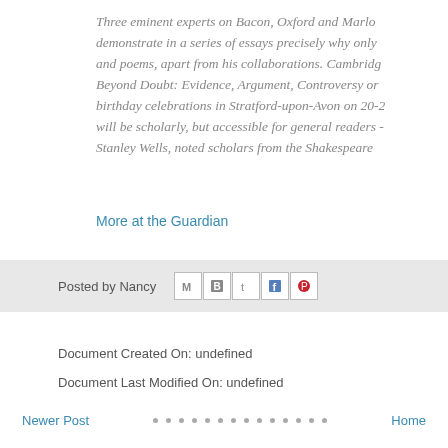Three eminent experts on Bacon, Oxford and Marlowe demonstrate in a series of essays precisely why only and poems, apart from his collaborations. Cambridge Beyond Doubt: Evidence, Argument, Controversy or birthday celebrations in Stratford-upon-Avon on 20-2 will be scholarly, but accessible for general readers - Stanley Wells, noted scholars from the Shakespeare
More at the Guardian
Posted by Nancy
Document Created On: undefined
Document Last Modified On: undefined
Newer Post · · · · · · · · · · · · · · Home